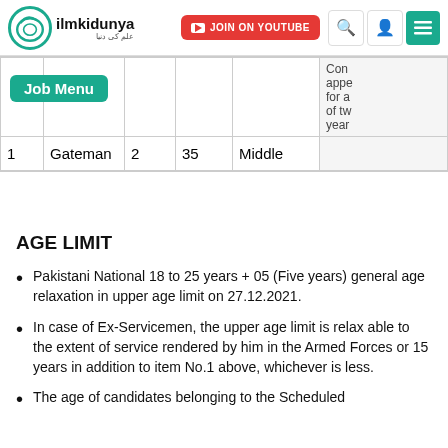ilmkidunya - JOIN ON YOUTUBE
| # | Post | Vacancies | Age | Qualification | Conditions |
| --- | --- | --- | --- | --- | --- |
| 1 | Gateman | 2 | 35 | Middle | Con appoi for a of tw year |
AGE LIMIT
Pakistani National 18 to 25 years + 05 (Five years) general age relaxation in upper age limit on 27.12.2021.
In case of Ex-Servicemen, the upper age limit is relax able to the extent of service rendered by him in the Armed Forces or 15 years in addition to item No.1 above, whichever is less.
The age of candidates belonging to the Scheduled